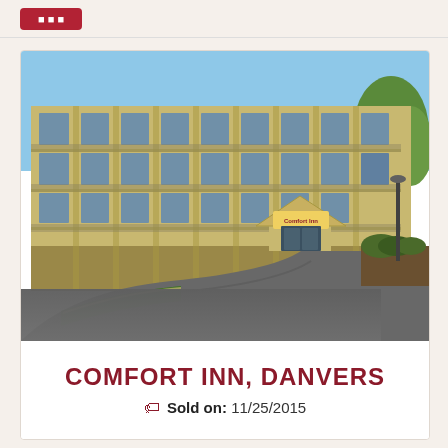[Figure (photo): Exterior photo of Comfort Inn, Danvers hotel building — a multi-story tan/yellow facade with large windows, a covered entrance with a peaked roof and Comfort Inn signage, a curved driveway, green hedge landscaping, and trees.]
COMFORT INN, DANVERS
Sold on: 11/25/2015